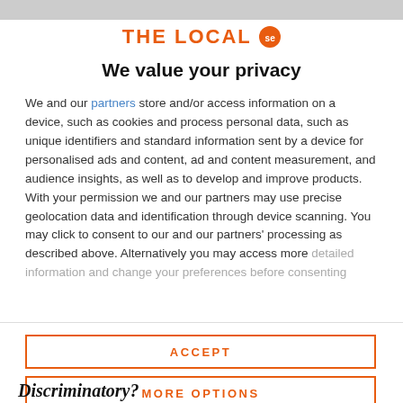[Figure (logo): THE LOCAL se logo with orange text and orange circle badge with 'se' inside]
We value your privacy
We and our partners store and/or access information on a device, such as cookies and process personal data, such as unique identifiers and standard information sent by a device for personalised ads and content, ad and content measurement, and audience insights, as well as to develop and improve products. With your permission we and our partners may use precise geolocation data and identification through device scanning. You may click to consent to our and our partners' processing as described above. Alternatively you may access more detailed information and change your preferences before consenting
ACCEPT
MORE OPTIONS
Discriminatory?